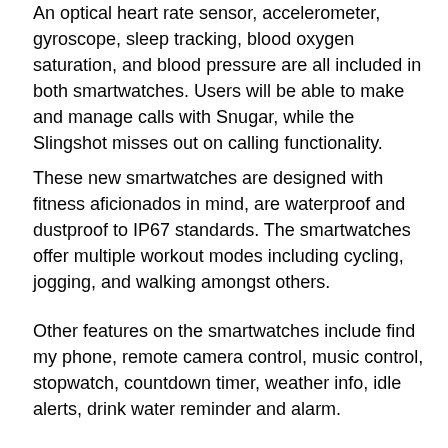An optical heart rate sensor, accelerometer, gyroscope, sleep tracking, blood oxygen saturation, and blood pressure are all included in both smartwatches. Users will be able to make and manage calls with Snugar, while the Slingshot misses out on calling functionality.
These new smartwatches are designed with fitness aficionados in mind, are waterproof and dustproof to IP67 standards. The smartwatches offer multiple workout modes including cycling, jogging, and walking amongst others.
Other features on the smartwatches include find my phone, remote camera control, music control, stopwatch, countdown timer, weather info, idle alerts, drink water reminder and alarm.